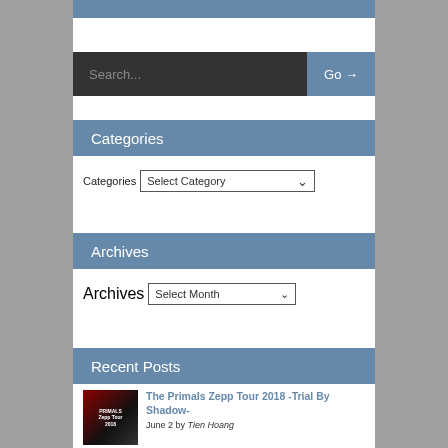[Figure (screenshot): Top blue decorative bar at top of sidebar]
[Figure (screenshot): Search bar with dark input field showing 'Search...' placeholder and blue 'Go →' button]
Categories
Categories  Select Category
Archives
Archives  Select Month
Recent Posts
The Primals Zepp Tour 2018 -Trial By Shadow-
June 2 by Tien Hoang